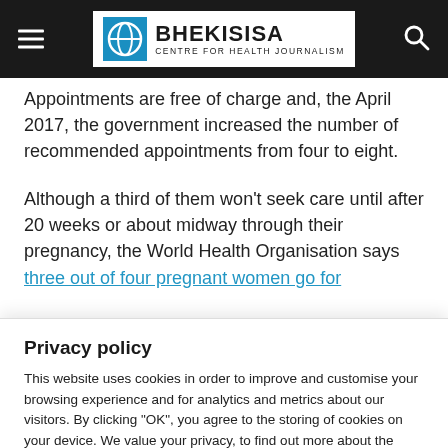Bhekisisa Centre for Health Journalism
Appointments are free of charge and, the April 2017, the government increased the number of recommended appointments from four to eight.
Although a third of them won't seek care until after 20 weeks or about midway through their pregnancy, the World Health Organisation says three out of four pregnant women go for
Privacy policy
This website uses cookies in order to improve and customise your browsing experience and for analytics and metrics about our visitors. By clicking "OK", you agree to the storing of cookies on your device. We value your privacy, to find out more about the cookies we use, and data collected, see our Privacy Policy.
Cookie Settings  OK